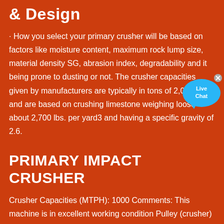& Design
· How you select your primary crusher will be based on factors like moisture content, maximum rock lump size, material density SG, abrasion index, degradability and it being prone to dusting or not. The crusher capacities given by manufacturers are typically in tons of 2,000 lbs and are based on crushing limestone weighing loose about 2,700 lbs. per yard3 and having a specific gravity of 2.6.
PRIMARY IMPACT CRUSHER
Crusher Capacities (MTPH): 1000 Comments: This machine is in excellent working condition Pulley (crusher)